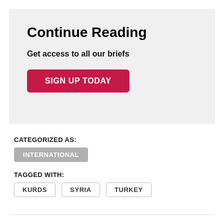Continue Reading
Get access to all our briefs
SIGN UP TODAY
CATEGORIZED AS:
INTERNATIONAL
TAGGED WITH:
KURDS
SYRIA
TURKEY